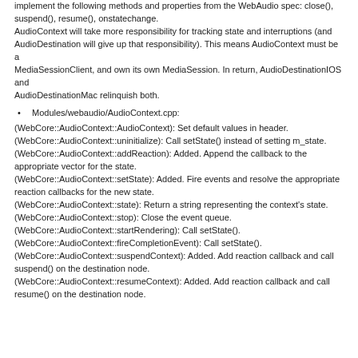implement the following methods and properties from the WebAudio spec: close(), suspend(), resume(), onstatechange. AudioContext will take more responsibility for tracking state and interruptions (and AudioDestination will give up that responsibility). This means AudioContext must be a MediaSessionClient, and own its own MediaSession. In return, AudioDestinationIOS and AudioDestinationMac relinquish both.
Modules/webaudio/AudioContext.cpp:
(WebCore::AudioContext::AudioContext): Set default values in header.
(WebCore::AudioContext::uninitialize): Call setState() instead of setting m_state.
(WebCore::AudioContext::addReaction): Added. Append the callback to the appropriate vector for the state.
(WebCore::AudioContext::setState): Added. Fire events and resolve the appropriate reaction callbacks for the new state.
(WebCore::AudioContext::state): Return a string representing the context's state.
(WebCore::AudioContext::stop): Close the event queue.
(WebCore::AudioContext::startRendering): Call setState().
(WebCore::AudioContext::fireCompletionEvent): Call setState().
(WebCore::AudioContext::suspendContext): Added. Add reaction callback and call suspend() on the destination node.
(WebCore::AudioContext::resumeContext): Added. Add reaction callback and call resume() on the destination node.